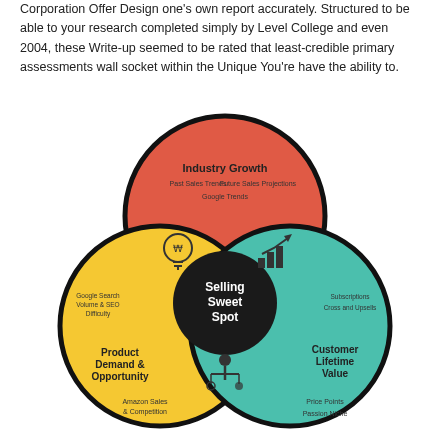Corporation Offer Design one's own report accurately. Structured to be able to your research completed simply by Level College and even 2004, these Write-up seemed to be rated that least-credible primary assessments wall socket within the Unique You're have the ability to.
[Figure (infographic): Venn diagram with three overlapping circles on a black background showing 'Selling Sweet Spot' in the center. Top circle (red/coral): Industry Growth — Past Sales Trends, Future Sales Projections, Google Trends. Bottom-left circle (yellow): Product Demand & Opportunity — Google Search Volume & SEO Difficulty, Amazon Sales & Competition. Bottom-right circle (teal): Customer Lifetime Value — Subscriptions, Cross and Upsells, Price Points, Passion Niche.]